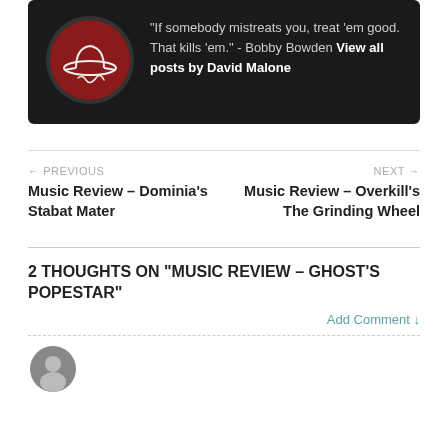"If somebody mistreats you, treat 'em good. That kills 'em." - Bobby Bowden View all posts by David Malone
← PREVIOUS
Music Review – Dominia's Stabat Mater
NEXT →
Music Review – Overkill's The Grinding Wheel
2 THOUGHTS ON "MUSIC REVIEW – GHOST'S POPESTAR"
Add Comment ↓